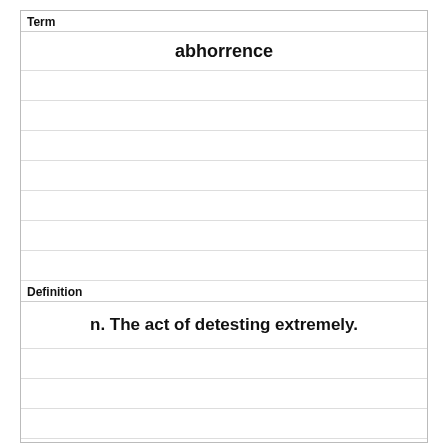Term
abhorrence
Definition
n. The act of detesting extremely.